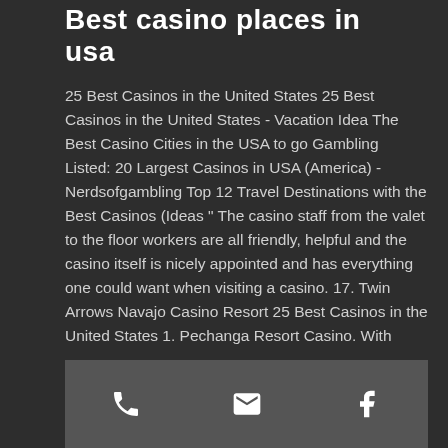Best casino places in usa
25 Best Casinos in the United States 25 Best Casinos in the United States - Vacation Idea The Best Casino Cities in the USA to go Gambling Listed: 20 Largest Casinos in USA (America) - Nerdsofgambling Top 12 Travel Destinations with the Best Casinos (Ideas " The casino staff from the valet to the floor workers are all friendly, helpful and the casino itself is nicely appointed and has everything one could want when visiting a casino. 17. Twin Arrows Navajo Casino Resort 25 Best Casinos in the United States 1. Pechanga Resort Casino. With 188,000 square feet of gaming space, Pechanga Resort Casino has the largest casino floor... 2. Beau Rivage Resort & Casino. Beau
Phone | Email | Facebook
Buffalo Thunder